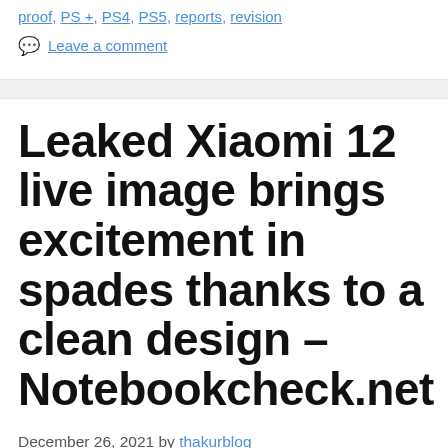proof, PS +, PS4, PS5, reports, revision
Leave a comment
Leaked Xiaomi 12 live image brings excitement in spades thanks to a clean design – Notebookcheck.net
December 26, 2021 by thakurblog